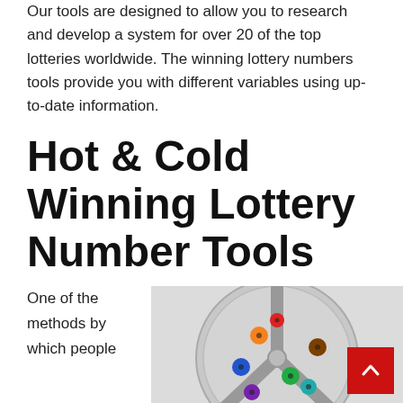Our tools are designed to allow you to research and develop a system for over 20 of the top lotteries worldwide. The winning lottery numbers tools provide you with different variables using up-to-date information.
Hot & Cold Winning Lottery Number Tools
One of the methods by which people
[Figure (photo): A lottery ball machine with colorful numbered balls visible inside a round drum with metal dividers.]